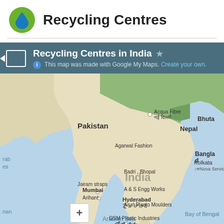Recycling Centres
[Figure (map): Google My Maps showing Recycling Centres in India. The map displays locations across India including: Acqua Fibre / नई दिल्ली (New Delhi), Agarwal Fashion, Badri / Bhopal, Jairam straps, Mumbai, Arihant, A & S Engg Works, Hyderabad / హైదరాబాద్, GSM Plastic Industries / ಬೆಂಗಳೂರು, Arun Plasto Moulders, Kolkata / Nova Services. Surrounding regions labeled: Pakistan, Nepal, Bhutan, Bangladesh, Arabian Sea, Bay of Bengal, rab (Arabia), man (Oman). Map title bar reads: Recycling Centres in India (star icon). Subtitle: This map was made with Google My Maps. Create your own.]